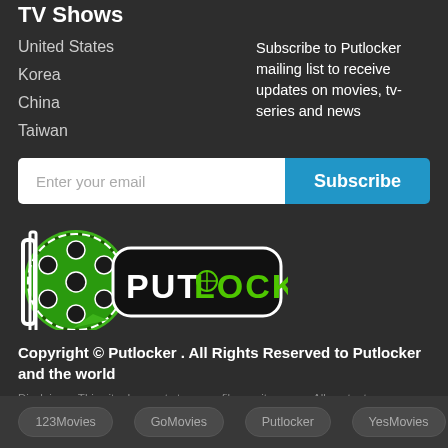TV Shows
United States
Korea
China
Taiwan
Subscribe to Putlocker mailing list to receive updates on movies, tv-series and news
Enter your email
Subscribe
[Figure (logo): Putlocker logo with film reel and text PUT LOCKER]
Copyright © Putlocker . All Rights Reserved to Putlocker and the world
Disclaimer: This site does not store any files on its server. All contents are provided by non-affiliated third parties.
123Movies   GoMovies   Putlocker   YesMovies